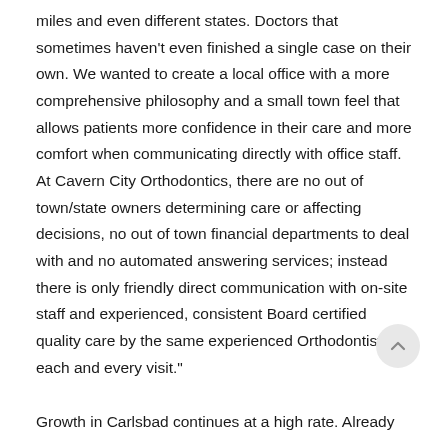miles and even different states. Doctors that sometimes haven't even finished a single case on their own. We wanted to create a local office with a more comprehensive philosophy and a small town feel that allows patients more confidence in their care and more comfort when communicating directly with office staff. At Cavern City Orthodontics, there are no out of town/state owners determining care or affecting decisions, no out of town financial departments to deal with and no automated answering services; instead there is only friendly direct communication with on-site staff and experienced, consistent Board certified quality care by the same experienced Orthodontist at each and every visit."
Growth in Carlsbad continues at a high rate. Already